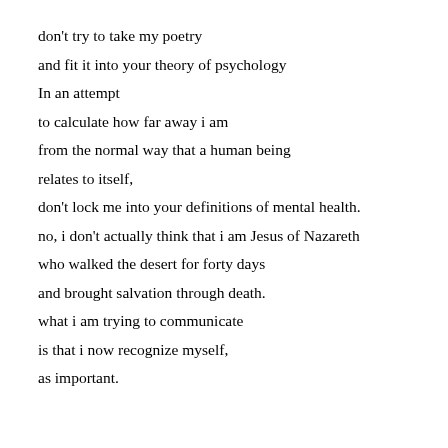don't try to take my poetry
and fit it into your theory of psychology
In an attempt
to calculate how far away i am
from the normal way that a human being
relates to itself,
don't lock me into your definitions of mental health.
no, i don't actually think that i am Jesus of Nazareth
who walked the desert for forty days
and brought salvation through death.
what i am trying to communicate
is that i now recognize myself,
as important.